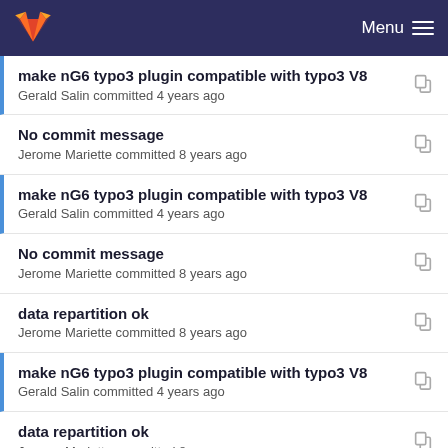Menu
make nG6 typo3 plugin compatible with typo3 V8
Gerald Salin committed 4 years ago
No commit message
Jerome Mariette committed 8 years ago
make nG6 typo3 plugin compatible with typo3 V8
Gerald Salin committed 4 years ago
No commit message
Jerome Mariette committed 8 years ago
data repartition ok
Jerome Mariette committed 8 years ago
make nG6 typo3 plugin compatible with typo3 V8
Gerald Salin committed 4 years ago
data repartition ok
Jerome Mariette committed 8 years ago
No commit message
(truncated)